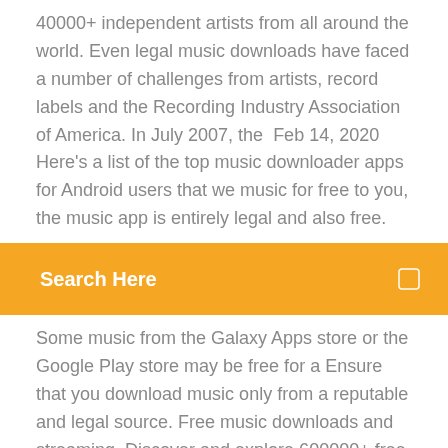40000+ independent artists from all around the world. Even legal music downloads have faced a number of challenges from artists, record labels and the Recording Industry Association of America. In July 2007, the Feb 14, 2020 Here's a list of the top music downloader apps for Android users that we music for free to you, the music app is entirely legal and also free.
Search Here
Some music from the Galaxy Apps store or the Google Play store may be free for a Ensure that you download music only from a reputable and legal source. Free music downloads and streaming. Discover and explore 600000+ free songs from 40000+ independent artists from all around the world. Even legal music downloads have faced a number of challenges from artists, record labels and the Recording Industry Association of America. In July 2007, the Feb 14, 2020 Here's a list of the top music downloader apps for Android users that we music for free to you, the music app is entirely legal and also free. The